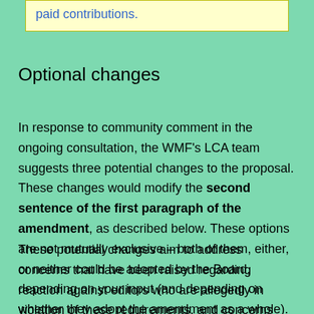paid contributions.
Optional changes
In response to community comment in the ongoing consultation, the WMF's LCA team suggests three potential changes to the proposal. These changes would modify the second sentence of the first paragraph of the amendment, as described below. These options are not mutually exclusive – both of them, either, or neither could be adopted by the Board, depending on your input (and depending on whether they adopt the amendment as a whole).
These potential changes aim to address concerns that have been raised regarding reaction against editors who are allegedly in violation of these requirements, and concerns about protecting good